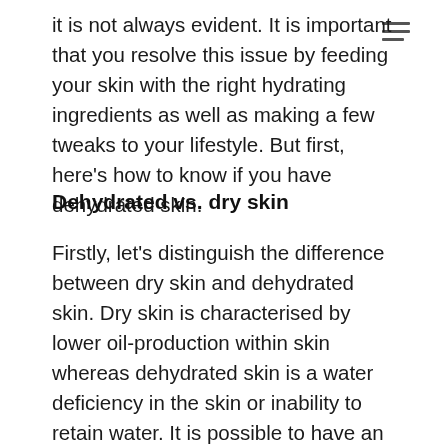it is not always evident. It is important that you resolve this issue by feeding your skin with the right hydrating ingredients as well as making a few tweaks to your lifestyle. But first, here's how to know if you have dehydrated skin.
Dehydrated vs. dry skin
Firstly, let's distinguish the difference between dry skin and dehydrated skin. Dry skin is characterised by lower oil-production within skin whereas dehydrated skin is a water deficiency in the skin or inability to retain water. It is possible to have an oily skin but still suffer from dehydration. Dryness is used to describe a skin type whereas dehydration refers to a skin condition. Dry skin can be incredibly uncomfortable with symptoms that include flakiness and itchy areas where as many people with dehydrated skin are not aware that their skin is lacking hydration as it 'feels' fine.